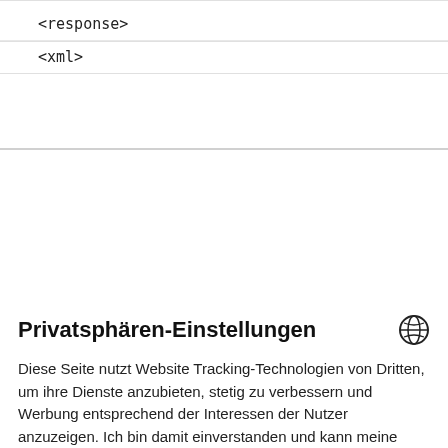<response>
<xml>
Privatsphären-Einstellungen
Diese Seite nutzt Website Tracking-Technologien von Dritten, um ihre Dienste anzubieten, stetig zu verbessern und Werbung entsprechend der Interessen der Nutzer anzuzeigen. Ich bin damit einverstanden und kann meine Einwilligung jederzeit mit Wirkung für die Zukunft widerrufen oder ändern.
Datenschutz  Impressum  Einstellungen
Annehmen
ablehnen
Powered by Usercentrics Consent Management